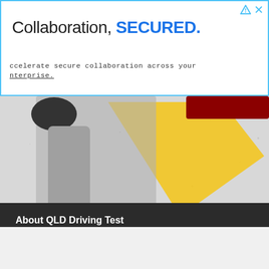[Figure (screenshot): Advertisement banner: 'Collaboration, SECURED.' with subtitle 'accelerate secure collaboration across your enterprise.' Blue border outline. Icons top right.]
[Figure (photo): Partial photo of a person in casual clothing on a speckled background with yellow geometric shape. Text 'An EOE M/F/D/V' at bottom right.]
Sponsored by
roberthalf.com
[Figure (other): Blue 'Open' button]
About QLD Driving Test
[Figure (logo): Orange diamond-shaped logo with checklist/checkbox icon]